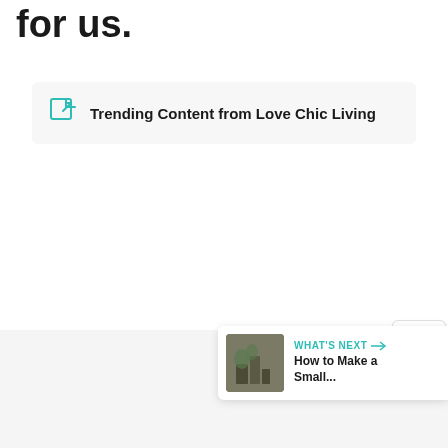for us.
Trending Content from Love Chic Living
[Figure (infographic): Share widget showing count 0 and a teal share button with plus icon]
[Figure (infographic): What's Next panel with thumbnail image and text: How to Make a Small...]